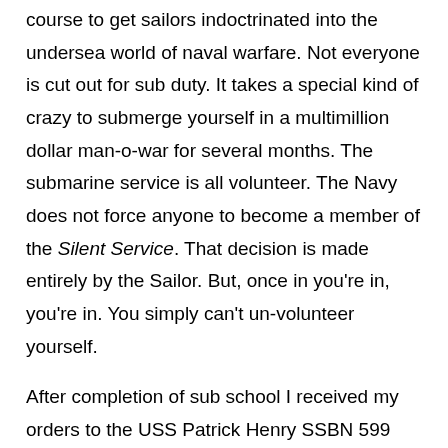course to get sailors indoctrinated into the undersea world of naval warfare. Not everyone is cut out for sub duty. It takes a special kind of crazy to submerge yourself in a multimillion dollar man-o-war for several months. The submarine service is all volunteer. The Navy does not force anyone to become a member of the Silent Service. That decision is made entirely by the Sailor. But, once in you're in, you're in. You simply can't un-volunteer yourself.

After completion of sub school I received my orders to the USS Patrick Henry SSBN 599 homeported in Pearl Harbor. Once onboard, every new sailor must get qualified. Qualified means knowing a little bit about everything on that sub. From the bow housing the Mark 48 torpedoes, to the middle known as